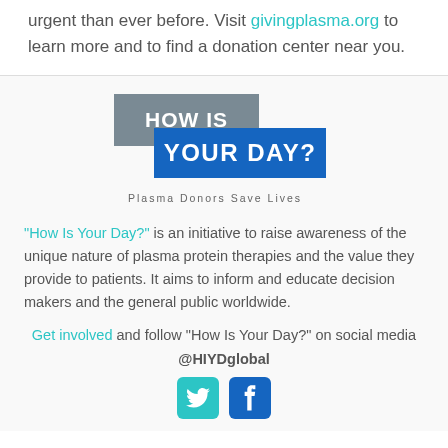urgent than ever before. Visit givingplasma.org to learn more and to find a donation center near you.
[Figure (logo): How Is Your Day? Plasma Donors Save Lives logo with gray block reading HOW IS and blue block reading YOUR DAY?]
"How Is Your Day?" is an initiative to raise awareness of the unique nature of plasma protein therapies and the value they provide to patients. It aims to inform and educate decision makers and the general public worldwide.
Get involved and follow "How Is Your Day?" on social media @HIYDglobal
[Figure (other): Twitter and Facebook social media icons]